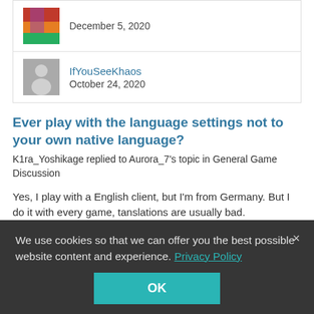[Figure (photo): User avatar with colorful image, December 5, 2020]
December 5, 2020
[Figure (illustration): Default gray person silhouette avatar for IfYouSeeKhaos]
IfYouSeeKhaos
October 24, 2020
Ever play with the language settings not to your own native language?
K1ra_Yoshikage replied to Aurora_7's topic in General Game Discussion
Yes, I play with a English client, but I'm from Germany. But I do it with every game, tanslations are usually bad.
December 15, 2020  9 replies
We use cookies so that we can offer you the best possible website content and experience. Privacy Policy
OK